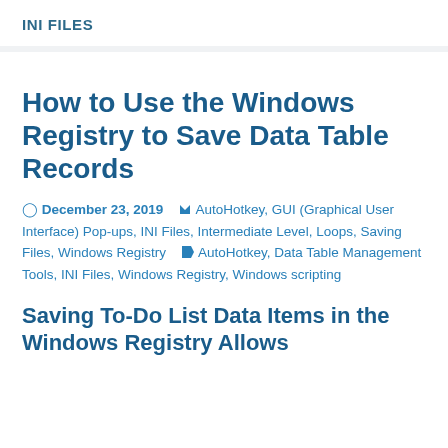INI FILES
How to Use the Windows Registry to Save Data Table Records
December 23, 2019   AutoHotkey, GUI (Graphical User Interface) Pop-ups, INI Files, Intermediate Level, Loops, Saving Files, Windows Registry   AutoHotkey, Data Table Management Tools, INI Files, Windows Registry, Windows scripting
Saving To-Do List Data Items in the Windows Registry Allows